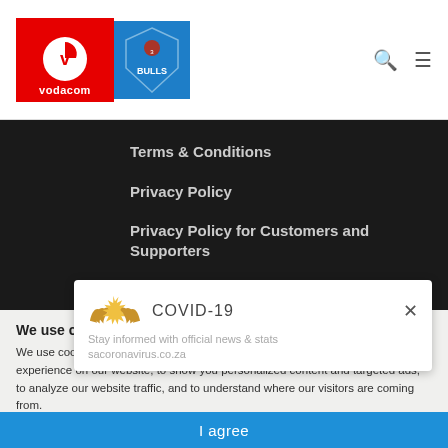[Figure (logo): Vodacom Bulls logo header with red Vodacom section and blue Bulls shield section]
Terms & Conditions
Privacy Policy
Privacy Policy for Customers and Supporters
Vodacom Bulls App Just For Kicks Competition
[Figure (logo): COVID-19 popup with golden wings icon and close button X, subtitle: Stay informed with official news & stats, sacoronavirus.co.za]
We use cookies
We use cookies and other tracking technologies to improve your browsing experience on our website, to show you personalized content and targeted ads, to analyze our website traffic, and to understand where our visitors are coming from.
I agree